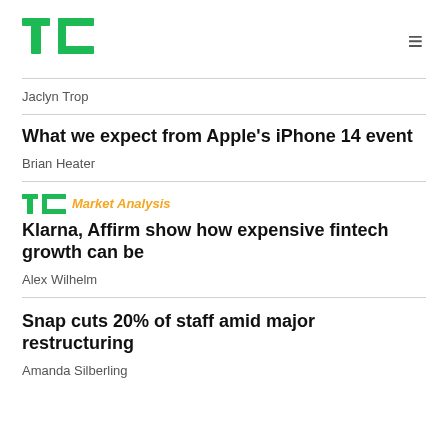TechCrunch logo and navigation
Jaclyn Trop
What we expect from Apple's iPhone 14 event
Brian Heater
TC+ Market Analysis
Klarna, Affirm show how expensive fintech growth can be
Alex Wilhelm
Snap cuts 20% of staff amid major restructuring
Amanda Silberling